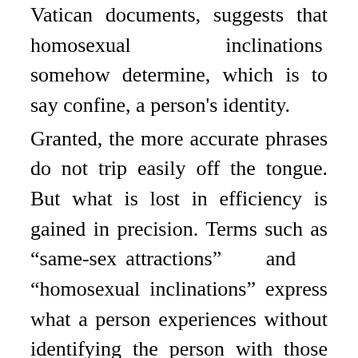Vatican documents, suggests that homosexual inclinations somehow determine, which is to say confine, a person's identity. Granted, the more accurate phrases do not trip easily off the tongue. But what is lost in efficiency is gained in precision. Terms such as “same-sex attractions” and “homosexual inclinations” express what a person experiences without identifying the person with those attractions. They both acknowledge the attractions and preserve the freedom and dignity of the person. With that essential distinction made, parents can better oppose the attractions without rejecting the child. And as the child matures, he will not find his identity